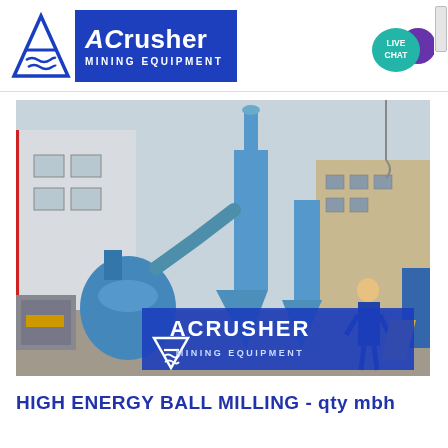ACrusher Mining Equipment
[Figure (photo): Industrial mining equipment – blue ball mill and cyclone separator system installed outdoors at a facility, with a worker in blue uniform visible. ACrusher Mining Equipment logo overlaid in lower portion of image.]
HIGH ENERGY BALL MILLING - qty mbh